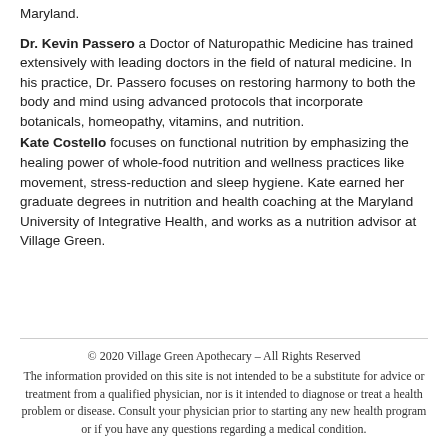Maryland.
Dr. Kevin Passero a Doctor of Naturopathic Medicine has trained extensively with leading doctors in the field of natural medicine. In his practice, Dr. Passero focuses on restoring harmony to both the body and mind using advanced protocols that incorporate botanicals, homeopathy, vitamins, and nutrition.
Kate Costello focuses on functional nutrition by emphasizing the healing power of whole-food nutrition and wellness practices like movement, stress-reduction and sleep hygiene. Kate earned her graduate degrees in nutrition and health coaching at the Maryland University of Integrative Health, and works as a nutrition advisor at Village Green.
© 2020 Village Green Apothecary – All Rights Reserved
The information provided on this site is not intended to be a substitute for advice or treatment from a qualified physician, nor is it intended to diagnose or treat a health problem or disease. Consult your physician prior to starting any new health program or if you have any questions regarding a medical condition.